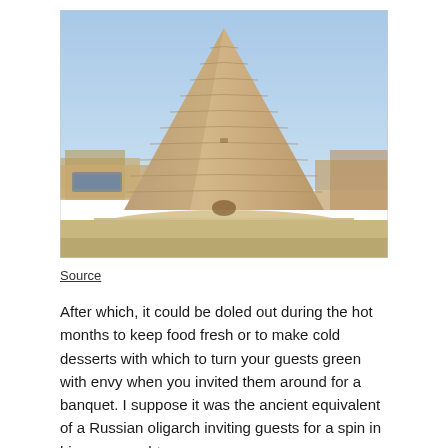[Figure (photo): A large conical mud-brick structure (yakhchal / ancient ice house) with stepped/ringed exterior, standing in a desert landscape under a clear blue sky. The cone is tan/sandy colored with horizontal ridges. Low mud-brick walls visible in the background.]
Source
After which, it could be doled out during the hot months to keep food fresh or to make cold desserts with which to turn your guests green with envy when you invited them around for a banquet. I suppose it was the ancient equivalent of a Russian oligarch inviting guests for a spin in his super yacht.